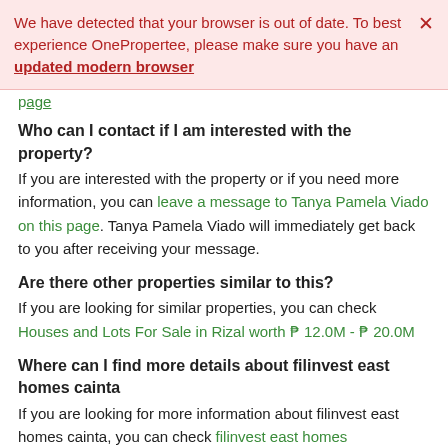We have detected that your browser is out of date. To best experience OnePropertee, please make sure you have an updated modern browser
page
Who can I contact if I am interested with the property?
If you are interested with the property or if you need more information, you can leave a message to Tanya Pamela Viado on this page. Tanya Pamela Viado will immediately get back to you after receiving your message.
Are there other properties similar to this?
If you are looking for similar properties, you can check Houses and Lots For Sale in Rizal worth ₱ 12.0M - ₱ 20.0M
Where can I find more details about filinvest east homes cainta
If you are looking for more information about filinvest east homes cainta, you can check filinvest east homes cainta on this page.